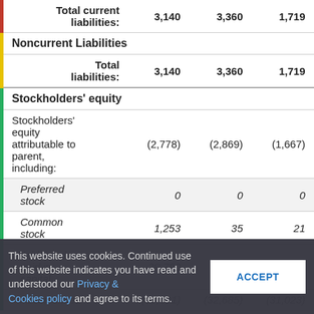|  |  |  |  |
| --- | --- | --- | --- |
| Total current liabilities: | 3,140 | 3,360 | 1,719 |
| Noncurrent Liabilities |  |  |  |
| Total liabilities: | 3,140 | 3,360 | 1,719 |
| Stockholders' equity |  |  |  |
| Stockholders' equity attributable to parent, including: | (2,778) | (2,869) | (1,667) |
| Preferred stock | 0 | 0 | 0 |
| Common stock | 1,253 | 35 | 21 |
| Additional paid in capital | 29,790 | 29,781 |  |
| Accumulated | (33,821) | (32,685) | (31,023) |
This website uses cookies. Continued use of this website indicates you have read and understood our Privacy & Cookies policy and agree to its terms.